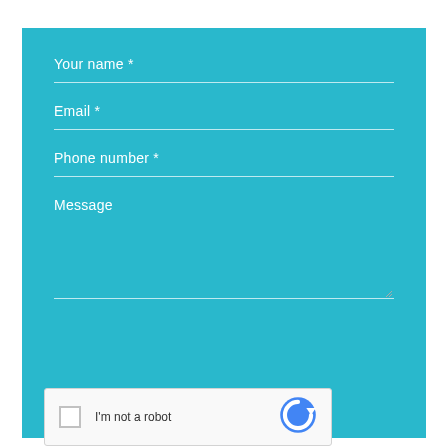Your name *
Email *
Phone number *
Message
[Figure (other): reCAPTCHA widget with checkbox, 'I'm not a robot' text, and Google reCAPTCHA logo]